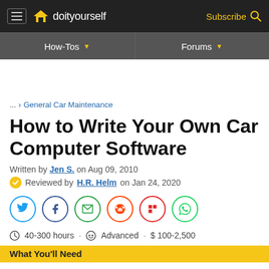doityourself | Subscribe
How-Tos | Forums
... > General Car Maintenance
How to Write Your Own Car Computer Software
Written by Jen S. on Aug 09, 2010
Reviewed by H.R. Helm on Jan 24, 2020
40-300 hours · Advanced · $ 100-2,500
What You'll Need